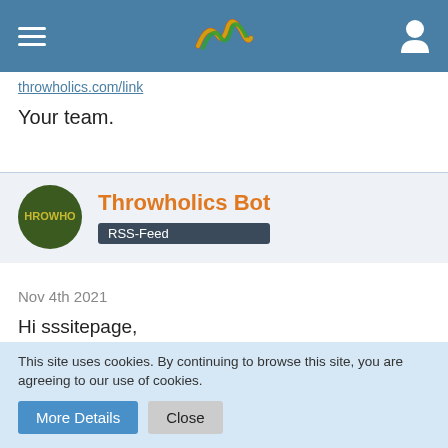Throwholics navigation header with logo
Your team.
Throwholics Bot RSS-Feed
Nov 4th 2021
Hi sssitepage,
we wish you a lot of fun in the largest, yet most close-knit and multi-national throwing community in the world.
This site uses cookies. By continuing to browse this site, you are agreeing to our use of cookies.